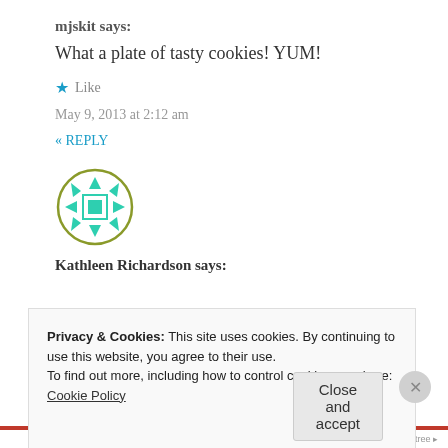mjskit says:
What a plate of tasty cookies! YUM!
★ Like
May 9, 2013 at 2:12 am
« REPLY
[Figure (illustration): Circular avatar icon with green geometric snowflake/star pattern inside a olive/green circle border]
Kathleen Richardson says:
Privacy & Cookies: This site uses cookies. By continuing to use this website, you agree to their use.
To find out more, including how to control cookies, see here:
Cookie Policy
Close and accept